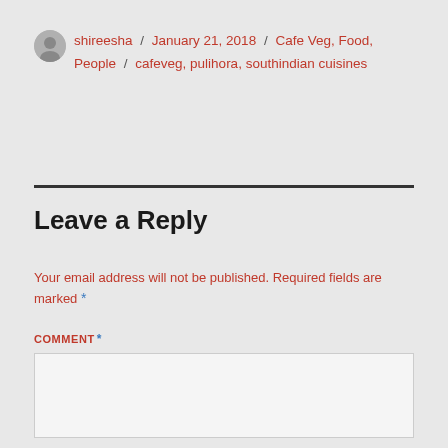shireesha / January 21, 2018 / Cafe Veg, Food, People / cafeveg, pulihora, southindian cuisines
Leave a Reply
Your email address will not be published. Required fields are marked *
COMMENT *